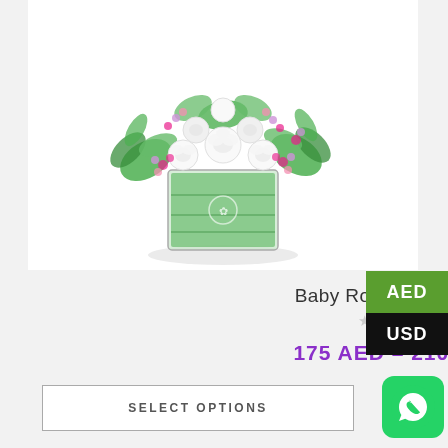[Figure (photo): A floral arrangement of white roses, pink wax flowers, and green filler foliage in a square green glass vase with a white rose logo, photographed on a white background.]
Baby Roses with Fillers
★★★★★ (empty stars / no rating)
175 AED – 210 AED
SELECT OPTIONS
AED
USD